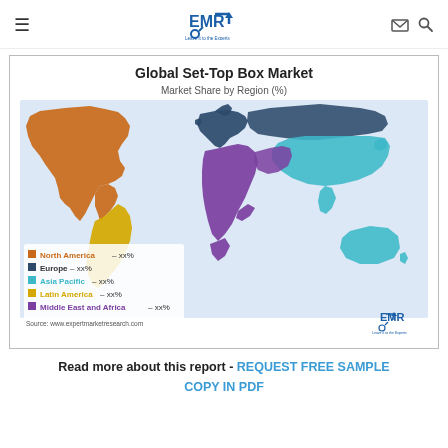EMR – Leave it to the Experts
[Figure (map): Global Set-Top Box Market – Market Share by Region (%) world map with regions colored: North America (orange), Europe (dark gray/blue), Asia Pacific (cyan/light blue), Latin America (yellow/gold), Middle East and Africa (purple). Legend shows: North America – xx%, Europe – xx%, Asia Pacific – xx%, Latin America – xx%, Middle East and Africa – xx%. Source: www.expertmarketresearch.com]
Read more about this report - REQUEST FREE SAMPLE COPY IN PDF